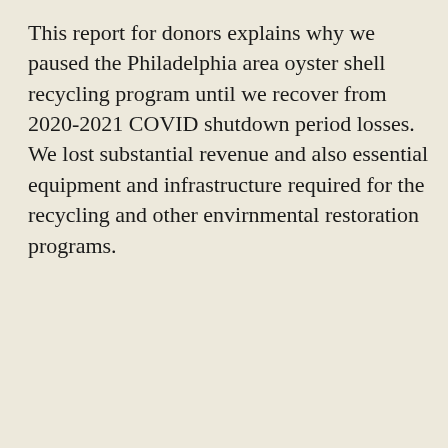This report for donors explains why we paused the Philadelphia area oyster shell recycling program until we recover from 2020-2021 COVID shutdown period losses. We lost substantial revenue and also essential equipment and infrastructure required for the recycling and other envirnmental restoration programs.